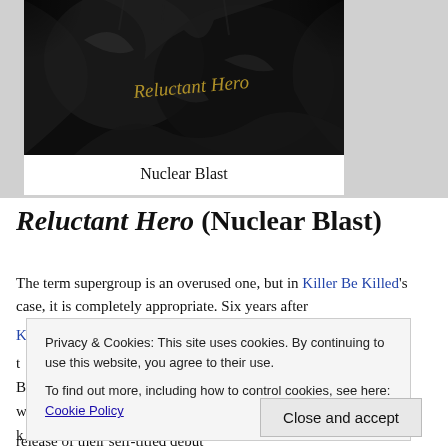[Figure (photo): Dark dramatic album cover art for 'Reluctant Hero' with the title in gold cursive script overlaid on dark metallic/organic shapes]
Nuclear Blast
Reluctant Hero (Nuclear Blast)
The term supergroup is an overused one, but in Killer Be Killed's case, it is completely appropriate. Six years after
Privacy & Cookies: This site uses cookies. By continuing to use this website, you agree to their use.
To find out more, including how to control cookies, see here: Cookie Policy
Close and accept
release of their self-titled debut